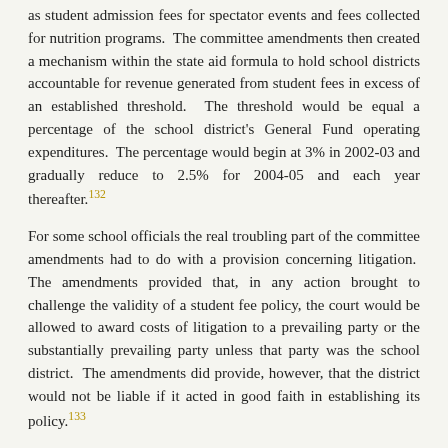as student admission fees for spectator events and fees collected for nutrition programs.  The committee amendments then created a mechanism within the state aid formula to hold school districts accountable for revenue generated from student fees in excess of an established threshold.  The threshold would be equal a percentage of the school district's General Fund operating expenditures.  The percentage would begin at 3% in 2002-03 and gradually reduce to 2.5% for 2004-05 and each year thereafter.[132]
For some school officials the real troubling part of the committee amendments had to do with a provision concerning litigation.  The amendments provided that, in any action brought to challenge the validity of a student fee policy, the court would be allowed to award costs of litigation to a prevailing party or the substantially prevailing party unless that party was the school district.  The amendments did provide, however, that the district would not be liable if it acted in good faith in establishing its policy.[133]
There was a fair amount of grumbling among school officials about the proposal forwarded by the Education Committee.  Some believed it was more or less a copout to push the issue back on the same local school boards that had looked to the Legislature to provide guidance in the first place.  It was as if the Education Committee decided the issue was too hot to handle, and preferred instead to allow individual school districts to fight it out within the judicial system.  However, there were other school officials who supported the proposal since it effectively protected parents